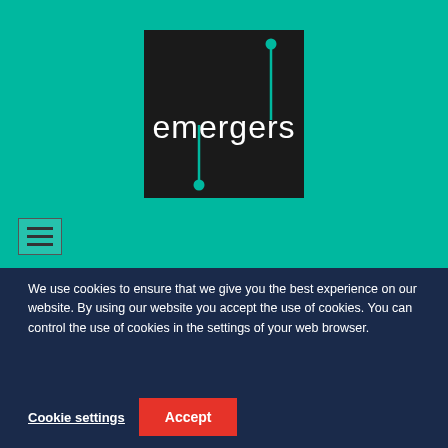[Figure (logo): Emergers logo: black square with white text 'emergers' and teal circuit-like line decorations]
[Figure (other): Hamburger menu icon: three horizontal lines inside a bordered box]
We use cookies to ensure that we give you the best experience on our website. By using our website you accept the use of cookies. You can control the use of cookies in the settings of your web browser.
Cookie settings
Accept